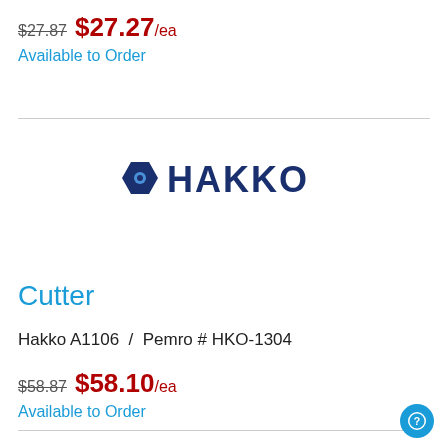$27.87  $27.27/ea
Available to Order
[Figure (logo): Hakko brand logo with pentagon star icon and bold text HAKKO]
Cutter
Hakko A1106  /  Pemro # HKO-1304
$58.87  $58.10/ea
Available to Order